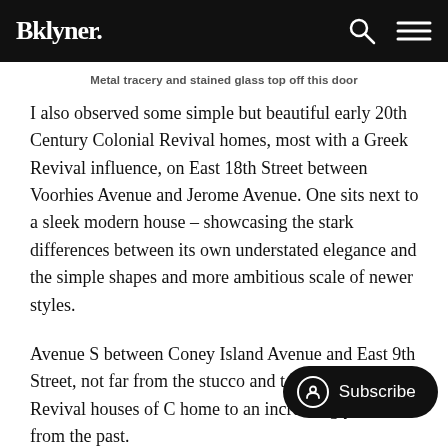Bklyner.
Metal tracery and stained glass top off this door
I also observed some simple but beautiful early 20th Century Colonial Revival homes, most with a Greek Revival influence, on East 18th Street between Voorhies Avenue and Jerome Avenue. One sits next to a sleek modern house – showcasing the stark differences between its own understated elegance and the simple shapes and more ambitious scale of newer styles.
Avenue S between Coney Island Avenue and East 9th Street, not far from the stucco and t Mediterranean Revival houses of C home to an increasingly rare blast from the past.